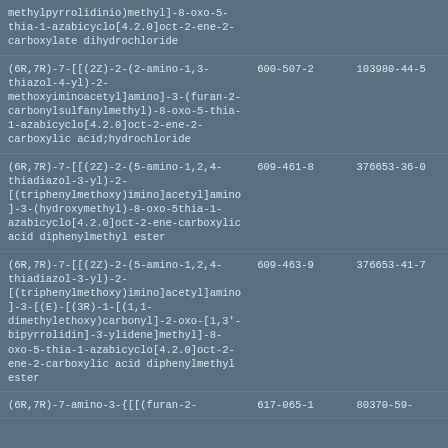| Name | EC Number | CAS Number |
| --- | --- | --- |
| methylpyrrolidinio)methyl]-8-oxo-5-thia-1-azabicyclo[4.2.0]oct-2-ene-2-carboxylate dihydrochloride |  |  |
| (6R,7R)-7-[[(2Z)-2-(2-amino-1,3-thiazol-4-yl)-2-methoxyiminoacetyl]amino]-3-(furan-2-carbonylsulfanylmethyl)-8-oxo-5-thia-1-azabicyclo[4.2.0]oct-2-ene-2-carboxylic acid;hydrochloride | 600-507-2 | 103980-44-5 |
| (6R,7R)-7-[[(2Z)-2-(5-amino-1,2,4-thiadiazol-3-yl)-2-[(triphenylmethoxy)imino]acetyl]amino]-3-(hydroxymethyl)-8-oxo-5thia-1-azabicyclo[4.2.0]oct-2-ene-carboxylic acid diphenylmethyl ester | 609-461-8 | 376653-36-0 |
| (6R,7R)-7-[[(2Z)-2-(5-amino-1,2,4-thiadiazol-3-yl)-2-[(triphenylmethoxy)imino]acetyl]amino]-3-[(E)-[(3R)-1-[(1,1-dimethylethoxy)carbonyl]-2-oxo-[1,3'-bipyrrolidin]-3-ylidene]methyl]-8-oxo-5-thia-1-azabicyclo[4.2.0]oct-2-ene-2-carboxylic acid diphenylmethyl ester | 609-463-9 | 376653-41-7 |
| (6R,7R)-7-amino-3-{[[(furan-2- | 617-065-1 | 80370-59- |